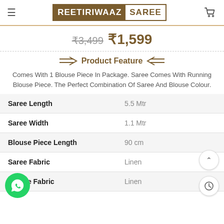REETIRIWAAZ SAREE
₹3,499  ₹1,599
Product Feature
Comes With 1 Blouse Piece In Package. Saree Comes With Running Blouse Piece. The Perfect Combination Of Saree And Blouse Colour.
|  |  |
| --- | --- |
| Saree Length | 5.5 Mtr |
| Saree Width | 1.1 Mtr |
| Blouse Piece Length | 90 cm |
| Saree Fabric | Linen |
| Blouse Fabric | Linen |